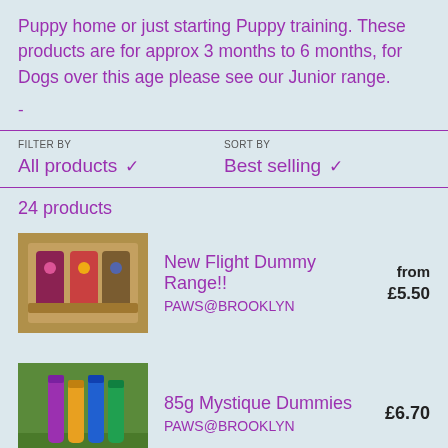Puppy home or just starting Puppy training.  These products are for approx 3 months to 6 months, for Dogs over this age please see our Junior range.
-
FILTER BY
All products ∨
SORT BY
Best selling ∨
24 products
[Figure (photo): Photo of flight dummy dog training products in a box]
New Flight Dummy Range!!
PAWS@BROOKLYN
from £5.50
[Figure (photo): Photo of colourful 85g Mystique dog training dummies on grass]
85g Mystique Dummies
PAWS@BROOKLYN
£6.70